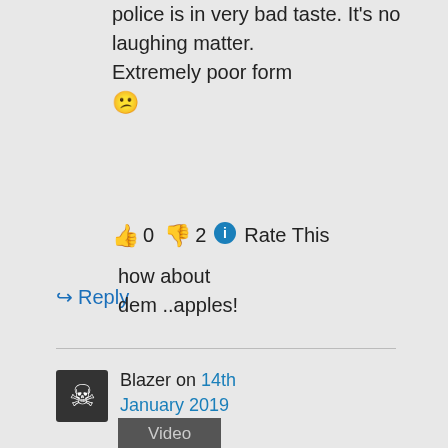police is in very bad taste. It's no laughing matter. Extremely poor form 😕
👍 0 👎 2 ℹ Rate This
↪ Reply
Blazer on 14th January 2019 at 7:37 pm
how about dem ..apples!
Video